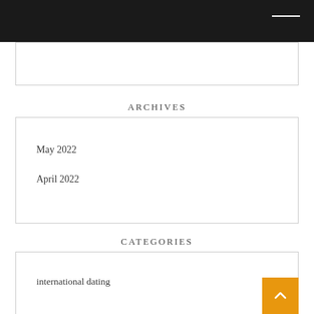ARCHIVES
May 2022
April 2022
CATEGORIES
international dating